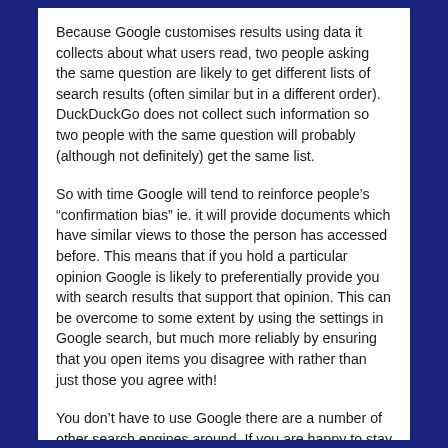Because Google customises results using data it collects about what users read, two people asking the same question are likely to get different lists of search results (often similar but in a different order). DuckDuckGo does not collect such information so two people with the same question will probably (although not definitely) get the same list.
So with time Google will tend to reinforce people's “confirmation bias” ie. it will provide documents which have similar views to those the person has accessed before. This means that if you hold a particular opinion Google is likely to preferentially provide you with search results that support that opinion. This can be overcome to some extent by using the settings in Google search, but much more reliably by ensuring that you open items you disagree with rather than just those you agree with!
You don’t have to use Google there are a number of other search engines around. If you are happy to stay with the ones that collect your information and will probably sell it on and